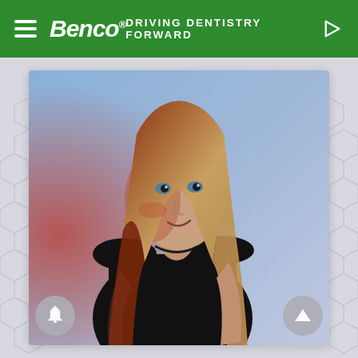Benco® — DRIVING DENTISTRY FORWARD
[Figure (photo): Woman with long straight brown-red hair, wearing a black sleeveless top, posed against a blue-purple studio background with dramatic red side lighting. She is smiling slightly and looking upward to her right.]